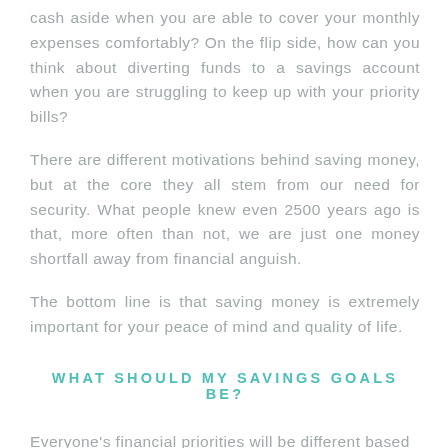cash aside when you are able to cover your monthly expenses comfortably? On the flip side, how can you think about diverting funds to a savings account when you are struggling to keep up with your priority bills?
There are different motivations behind saving money, but at the core they all stem from our need for security. What people knew even 2500 years ago is that, more often than not, we are just one money shortfall away from financial anguish.
The bottom line is that saving money is extremely important for your peace of mind and quality of life.
WHAT SHOULD MY SAVINGS GOALS BE?
Everyone's financial priorities will be different based